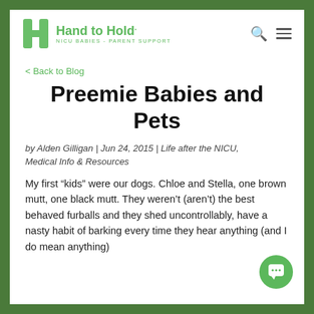Hand to Hold. NICU BABIES - PARENT SUPPORT
< Back to Blog
Preemie Babies and Pets
by Alden Gilligan | Jun 24, 2015 | Life after the NICU, Medical Info & Resources
My first “kids” were our dogs. Chloe and Stella, one brown mutt, one black mutt. They weren’t (aren’t) the best behaved furballs and they shed uncontrollably, have a nasty habit of barking every time they hear anything (and I do mean anything)